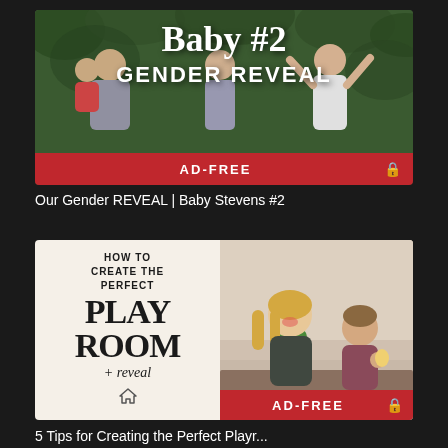[Figure (photo): Thumbnail image for a gender reveal video. White bold text reads 'Baby #2' and 'GENDER REVEAL' over a dark green leafy background with silhouettes of a family celebrating. A red banner at the bottom reads 'AD-FREE' with a lock icon.]
Our Gender REVEAL | Baby Stevens #2
[Figure (photo): Thumbnail image for a playroom reveal video. Left half has a cream background with bold serif text reading 'HOW TO CREATE THE PERFECT PLAY ROOM + reveal' and a house icon. Right half shows a smiling blonde woman and a toddler. A red 'AD-FREE' banner with lock icon appears at bottom right.]
5 Tips for Creating the Perfect Playr...